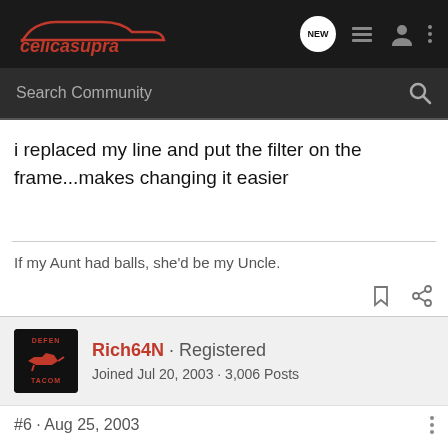celicasupra — Search Community
i replaced my line and put the filter on the frame...makes changing it easier
If my Aunt had balls, she'd be my Uncle.
Rich64N · Registered
Joined Jul 20, 2003 · 3,006 Posts
#6 · Aug 25, 2003